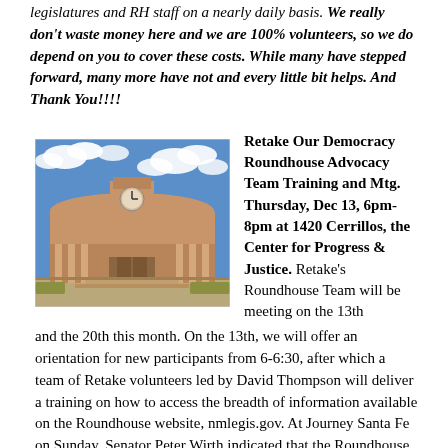legislatures and RH staff on a nearly daily basis. We really don't waste money here and we are 100% volunteers, so we do depend on you to cover these costs. While many have stepped forward, many more have not and every little bit helps. And Thank You!!!!
[Figure (photo): Photo of the New Mexico State Capitol (Roundhouse) building — a round adobe-style structure with a clock tower, columns, and blue sky with clouds in the background.]
Retake Our Democracy Roundhouse Advocacy Team Training and Mtg. Thursday, Dec 13, 6pm-8pm at 1420 Cerrillos, the Center for Progress & Justice. Retake's Roundhouse Team will be meeting on the 13th and the 20th this month. On the 13th, we will offer an orientation for new participants from 6-6:30, after which a team of Retake volunteers led by David Thompson will deliver a training on how to access the breadth of information available on the Roundhouse website, nmlegis.gov. At Journey Santa Fe on Sunday, Senator Peter Wirth indicated that the Roundhouse website may be the best such website in the country, but based upon my and many others' experience, it can be difficult to navigate and interpret. Our team will do a